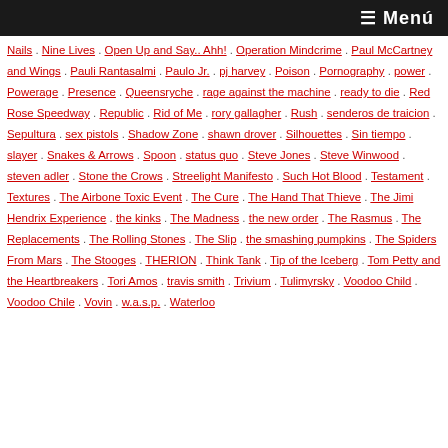≡ Menú
Nails · Nine Lives · Open Up and Say.. Ahh! · Operation Mindcrime · Paul McCartney and Wings · Pauli Rantasalmi · Paulo Jr. · pj harvey · Poison · Pornography · power · Powerage · Presence · Queensryche · rage against the machine · ready to die · Red Rose Speedway · Republic · Rid of Me · rory gallagher · Rush · senderos de traicion · Sepultura · sex pistols · Shadow Zone · shawn drover · Silhouettes · Sin tiempo · slayer · Snakes & Arrows · Spoon · status quo · Steve Jones · Steve Winwood · steven adler · Stone the Crows · Streelight Manifesto · Such Hot Blood · Testament · Textures · The Airbone Toxic Event · The Cure · The Hand That Thieve · The Jimi Hendrix Experience · the kinks · The Madness · the new order · The Rasmus · The Replacements · The Rolling Stones · The Slip · the smashing pumpkins · The Spiders From Mars · The Stooges · THERION · Think Tank · Tip of the Iceberg · Tom Petty and the Heartbreakers · Tori Amos · travis smith · Trivium · Tulimyrsky · Voodoo Child · Voodoo Chile · Vovin · w.a.s.p. · Waterloo